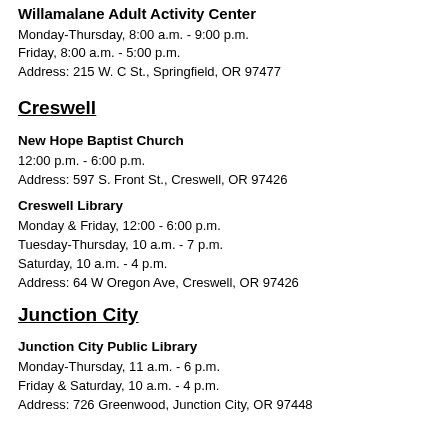Willamalane Adult Activity Center
Monday-Thursday, 8:00 a.m. - 9:00 p.m.
Friday, 8:00 a.m. - 5:00 p.m.
Address: 215 W. C St., Springfield, OR 97477
Creswell
New Hope Baptist Church
12:00 p.m. - 6:00 p.m.
Address: 597 S. Front St., Creswell, OR 97426
Creswell Library
Monday & Friday, 12:00 - 6:00 p.m.
Tuesday-Thursday, 10 a.m. - 7 p.m.
Saturday, 10 a.m. - 4 p.m.
Address: 64 W Oregon Ave, Creswell, OR 97426
Junction City
Junction City Public Library
Monday-Thursday, 11 a.m. - 6 p.m.
Friday & Saturday, 10 a.m. - 4 p.m.
Address: 726 Greenwood, Junction City, OR 97448